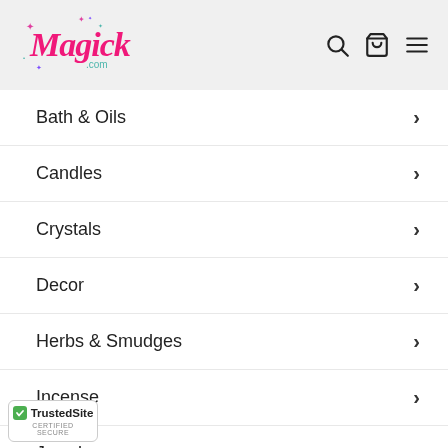[Figure (logo): Magick.com logo in pink cursive with sparkle stars, with search, cart, and hamburger menu icons on the right in the grey header bar]
Bath & Oils >
Candles >
Crystals >
Decor >
Herbs & Smudges >
Incense >
Jewelry >
[Figure (logo): TrustedSite Certified Secure badge with green checkmark]